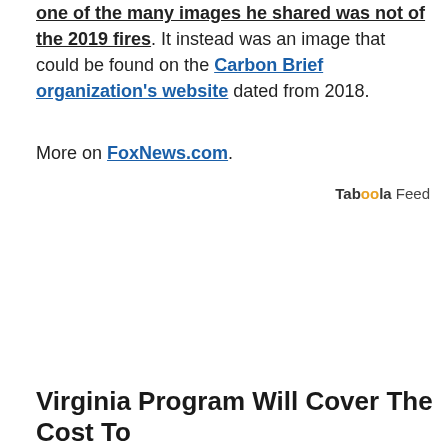one of the many images he shared was not of the 2019 fires. It instead was an image that could be found on the Carbon Brief organization's website dated from 2018.
More on FoxNews.com.
Taboola Feed
Virginia Program Will Cover The Cost To